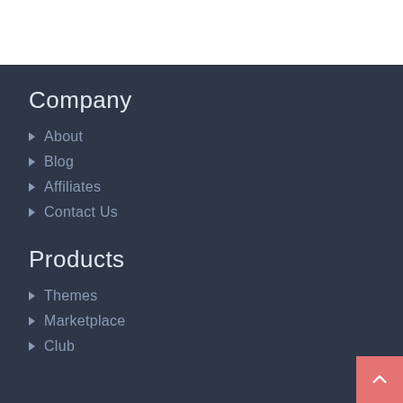Company
About
Blog
Affiliates
Contact Us
Products
Themes
Marketplace
Club